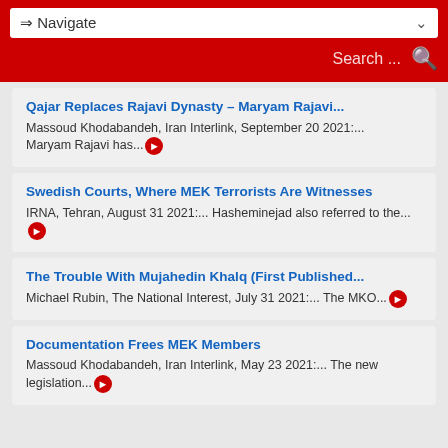⇒ Navigate | Search ...
Qajar Replaces Rajavi Dynasty – Maryam Rajavi...
Massoud Khodabandeh, Iran Interlink, September 20 2021:... Maryam Rajavi has...
Swedish Courts, Where MEK Terrorists Are Witnesses
IRNA, Tehran, August 31 2021:... Hasheminejad also referred to the...
The Trouble With Mujahedin Khalq (First Published...
Michael Rubin, The National Interest, July 31 2021:... The MKO...
Documentation Frees MEK Members
Massoud Khodabandeh, Iran Interlink, May 23 2021:... The new legislation...